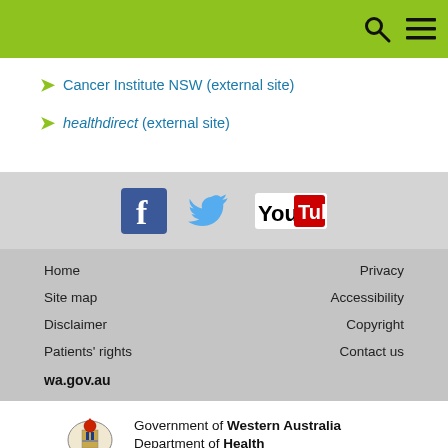Cancer Institute NSW (external site)
healthdirect (external site)
[Figure (infographic): Social media icons: Facebook, Twitter, YouTube]
Home | Privacy | Site map | Accessibility | Disclaimer | Copyright | Patients' rights | Contact us | wa.gov.au
[Figure (logo): Government of Western Australia Department of Health logo with coat of arms]